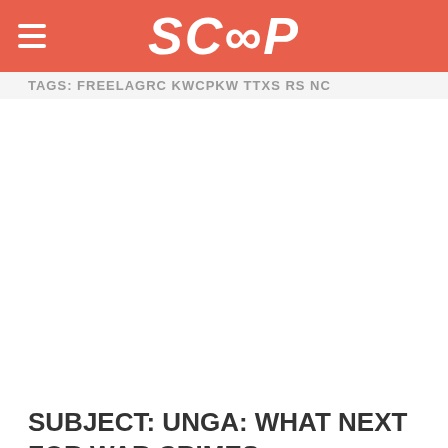SCOOP
TAGS: FREELAGRC KWCPKW TTXS RS NC
SUBJECT: UNGA: WHAT NEXT FOR WAR CRIMES TRIBUNALS?
1. Summary: At the annual reports of the International Criminal Tribunals (ICTs), Western delegations praised